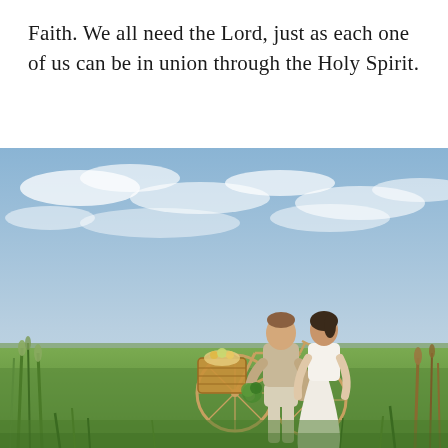Faith. We all need the Lord, just as each one of us can be in union through the Holy Spirit.
[Figure (photo): A couple standing in a grassy field under a partly cloudy blue sky. A man in a beige t-shirt and light shorts holds greenery/flowers toward a woman in a white dress. A vintage bicycle with a wicker basket stands nearby. Tall grass and reeds frame the scene.]